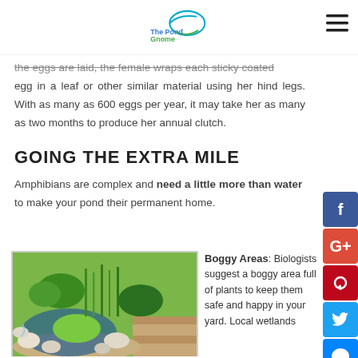The Pond Gnome
the eggs are laid, the female wraps each sticky coated egg in a leaf or other similar material using her hind legs. With as many as 600 eggs per year, it may take her as many as two months to produce her annual clutch.
GOING THE EXTRA MILE
Amphibians are complex and need a little more than water to make your pond their permanent home.
[Figure (photo): A garden pond with rocks, water feature, and lush green plants including ferns and aquatic vegetation.]
Boggy Areas: Biologists suggest a boggy area full of plants to keep them safe and happy in your yard. Local wetlands